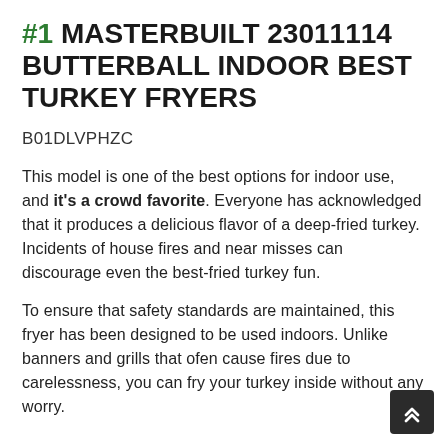#1 MASTERBUILT 23011114 BUTTERBALL INDOOR BEST TURKEY FRYERS
B01DLVPHZC
This model is one of the best options for indoor use, and it's a crowd favorite. Everyone has acknowledged that it produces a delicious flavor of a deep-fried turkey. Incidents of house fires and near misses can discourage even the best-fried turkey fun.
To ensure that safety standards are maintained, this fryer has been designed to be used indoors. Unlike banners and grills that ofen cause fires due to carelessness, you can fry your turkey inside without any worry.